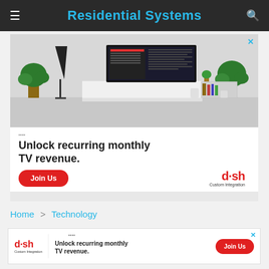Residential Systems
[Figure (illustration): Large DISH Custom Integration advertisement showing a living room with a large TV displaying a menu, floor lamp, and plants. Text reads 'Unlock recurring monthly TV revenue.' with a red 'Join Us' button and DISH Custom Integration logo.]
Home > Technology
[Figure (illustration): Small horizontal DISH Custom Integration advertisement with logo on left, text 'Unlock recurring monthly TV revenue.' in center, and red 'Join Us' button on right.]